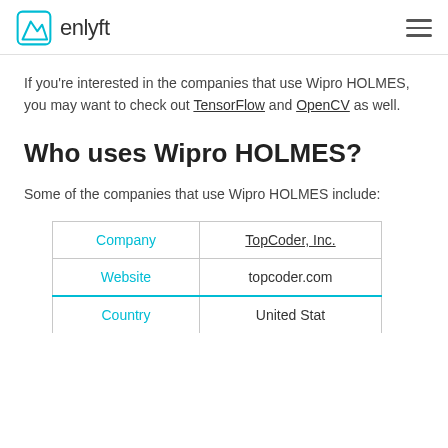enlyft
If you're interested in the companies that use Wipro HOLMES, you may want to check out TensorFlow and OpenCV as well.
Who uses Wipro HOLMES?
Some of the companies that use Wipro HOLMES include:
| Company | TopCoder, Inc. |
| --- | --- |
| Website | topcoder.com |
| Country | United States |